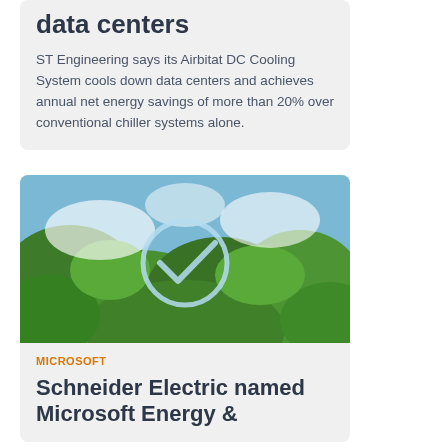data centers
ST Engineering says its Airbitat DC Cooling System cools down data centers and achieves annual net energy savings of more than 20% over conventional chiller systems alone.
[Figure (photo): Aerial view of green forest with a light blue checkmark circle overlaid on top, symbolizing environmental sustainability or certification.]
MICROSOFT
Schneider Electric named Microsoft Energy &